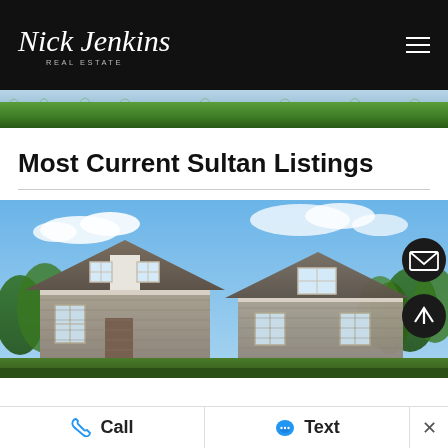Nick Jenkins Real Estate
[Figure (photo): Grass/lawn hero image strip at top of page]
Most Current Sultan Listings
[Figure (photo): Exterior photo of a new construction craftsman-style multi-unit residential home with gray siding, white trim windows, and trees in the background under a blue sky]
Call   Text